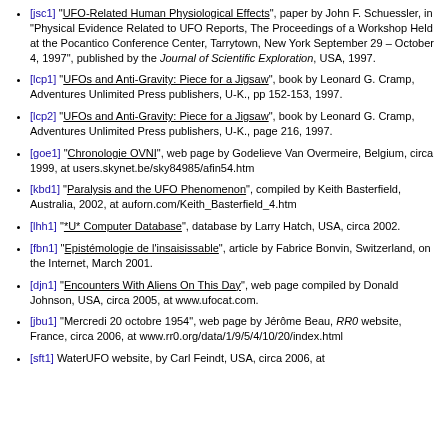[jsc1] "UFO-Related Human Physiological Effects", paper by John F. Schuessler, in "Physical Evidence Related to UFO Reports, The Proceedings of a Workshop Held at the Pocantico Conference Center, Tarrytown, New York September 29 – October 4, 1997", published by the Journal of Scientific Exploration, USA, 1997.
[lcp1] "UFOs and Anti-Gravity: Piece for a Jigsaw", book by Leonard G. Cramp, Adventures Unlimited Press publishers, U-K., pp 152-153, 1997.
[lcp2] "UFOs and Anti-Gravity: Piece for a Jigsaw", book by Leonard G. Cramp, Adventures Unlimited Press publishers, U-K., page 216, 1997.
[goe1] "Chronologie OVNI", web page by Godelieve Van Overmeire, Belgium, circa 1999, at users.skynet.be/sky84985/afin54.htm
[kbd1] "Paralysis and the UFO Phenomenon", compiled by Keith Basterfield, Australia, 2002, at auforn.com/Keith_Basterfield_4.htm
[lhh1] "*U* Computer Database", database by Larry Hatch, USA, circa 2002.
[fbn1] "Epistémologie de l'insaisissable", article by Fabrice Bonvin, Switzerland, on the Internet, March 2001.
[djn1] "Encounters With Aliens On This Day", web page compiled by Donald Johnson, USA, circa 2005, at www.ufocat.com.
[jbu1] "Mercredi 20 octobre 1954", web page by Jérôme Beau, RR0 website, France, circa 2006, at www.rr0.org/data/1/9/5/4/10/20/index.html
[sft1] WaterUFO website, by Carl Feindt, USA, circa 2006, at